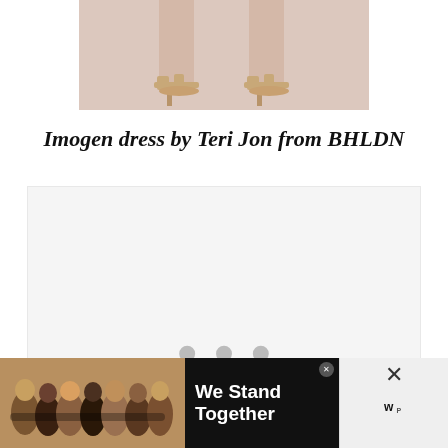[Figure (photo): Partial view of a woman's legs wearing strappy beige/gold sandal heels on a light pink/nude background]
Imogen dress by Teri Jon from BHLDN
[Figure (other): Empty slideshow/carousel area with three navigation dots (gray circles) at center bottom]
[Figure (other): Advertisement banner: group of diverse people with arms around each other on left, black background with white text 'We Stand Together' on right, with close button X and logo wp]